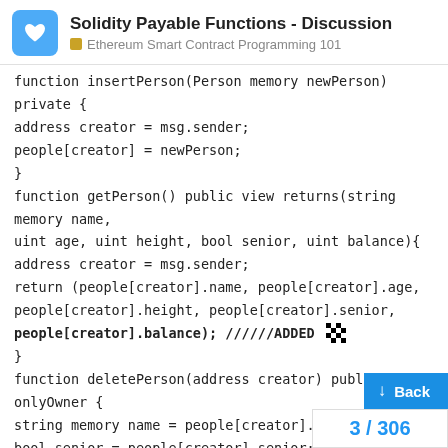Solidity Payable Functions - Discussion | Ethereum Smart Contract Programming 101
function insertPerson(Person memory newPerson) private {
address creator = msg.sender;
people[creator] = newPerson;
}
function getPerson() public view returns(string memory name,
uint age, uint height, bool senior, uint balance){
address creator = msg.sender;
return (people[creator].name, people[creator].age,
people[creator].height, people[creator].senior,
people[creator].balance); //////ADDED 🏁
}
function deletePerson(address creator) public onlyOwner {
string memory name = people[creator].name;
bool senior = people[creator].senior;
delete people[creator];
assert(people[creator].age == 0);
emit personDeleted(name, senior, owner);
}
function getCreator(uint index) public view